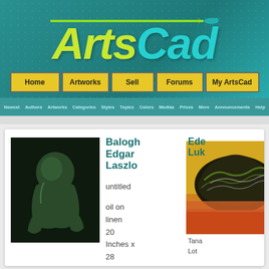[Figure (logo): ArtsCad logo with green/teal lettering and paintbrush graphic on teal background]
Home | Artworks | Sell | Forums | My ArtsCad
Newest | Authors | Artworks | Categories | Styles | Topics | Colors | Medias | Prices | More | Announcements | Help
Balogh Edgar Laszlo
untitled
oil on linen 20 Inches x 28
[Figure (photo): Dark painting of a hunched figure on black background]
[Figure (photo): Abstract painting with green, silver, yellow and red colors]
Ede
Luk
Tana
Lot

Abs
31
Inch
x 35
Inch